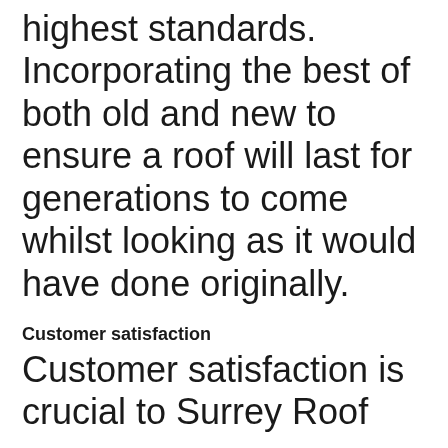highest standards. Incorporating the best of both old and new to ensure a roof will last for generations to come whilst looking as it would have done originally.
Customer satisfaction
Customer satisfaction is crucial to Surrey Roof